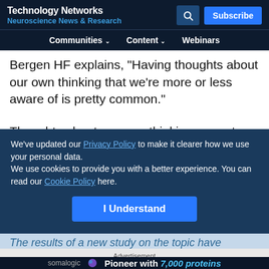Technology Networks — Neuroscience News & Research
Bergen HF explains, "Having thoughts about our own thinking that we're more or less aware of is pretty common."
Thoughts about our own thinking are not harmful in themselves. Positive thoughts about our own thinking...
We've updated our Privacy Policy to make it clearer how we use your personal data.
We use cookies to provide you with a better experience. You can read our Cookie Policy here.
I Understand
The results of a new study on the topic have recently
Advertisement
[Figure (other): Somalogic advertisement banner: 'Pioneer with 7,000 proteins']